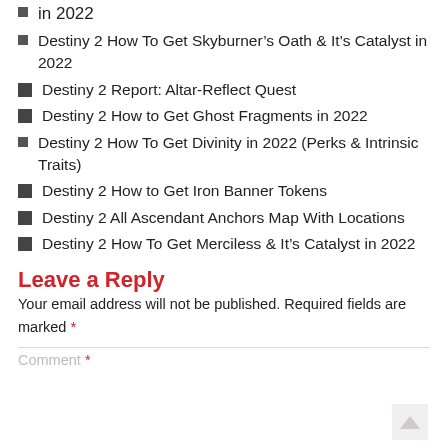in 2022
Destiny 2 How To Get Skyburner’s Oath & It’s Catalyst in 2022
Destiny 2 Report: Altar-Reflect Quest
Destiny 2 How to Get Ghost Fragments in 2022
Destiny 2 How To Get Divinity in 2022 (Perks & Intrinsic Traits)
Destiny 2 How to Get Iron Banner Tokens
Destiny 2 All Ascendant Anchors Map With Locations
Destiny 2 How To Get Merciless & It’s Catalyst in 2022
Leave a Reply
Your email address will not be published. Required fields are marked *
Comment *